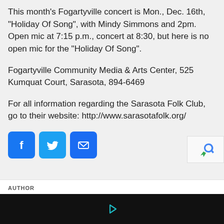This month’s Fogartyville concert is Mon., Dec. 16th, “Holiday Of Song”, with Mindy Simmons and 2pm.
Open mic at 7:15 p.m., concert at 8:30, but here is no open mic for the “Holiday Of Song”.
Fogartyville Community Media & Arts Center, 525 Kumquat Court, Sarasota, 894-6469
For all information regarding the Sarasota Folk Club, go to their website: http://www.sarasotafolk.org/
[Figure (infographic): Three social media share buttons: Facebook (blue, f icon), Twitter (blue, bird icon), Email (blue, envelope icon)]
AUTHOR